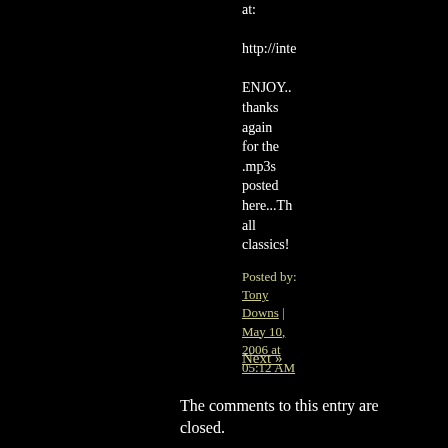at:

http://inte

ENJOY.. thanks again for the .mp3s posted here...Th all classics!
Posted by: Tony Downs | May 10, 2006 at 05:12 AM
Next »
The comments to this entry are closed.